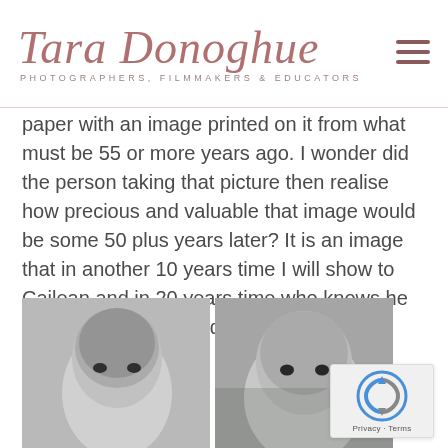Tara Donoghue — Photographers, Filmmakers & Educators
paper with an image printed on it from what must be 55 or more years ago. I wonder did the person taking that picture then realise how precious and valuable that image would be some 50 plus years later? It is an image that in another 10 years time I will show to Cailean and in 20 years time who knows he may show his son or daughter.
[Figure (photo): Two black and white portrait photographs side by side showing close-up faces of young children (boys), vintage and modern comparison photos]
[Figure (other): reCAPTCHA widget showing Privacy and Terms text]